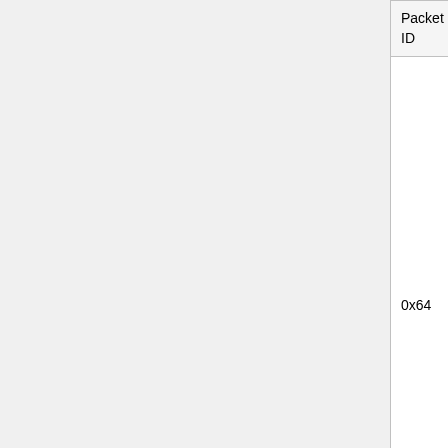| Packet ID | Field Name | Field Type | Example | Notes |
| --- | --- | --- | --- | --- |
|  | Window id | byte | 123 | A nu w di N im a at |
| 0x64 | Inventory Type | byte | 2 | Th to C |
| 0x64 | Window title | string | Chest | Th w |
| 0x64 | Number of Slots | byte | 3 | N th (e nu |